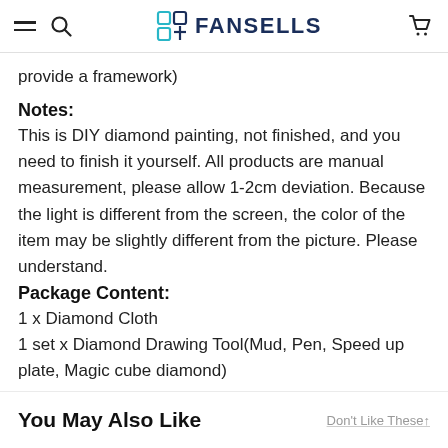FANSELLS
provide a framework)
Notes:
This is DIY diamond painting, not finished, and you need to finish it yourself. All products are manual measurement, please allow 1-2cm deviation. Because the light is different from the screen, the color of the item may be slightly different from the picture. Please understand.
Package Content:
1 x Diamond Cloth
1 set x Diamond Drawing Tool(Mud, Pen, Speed up plate, Magic cube diamond)
You May Also Like
Don't Like These↑